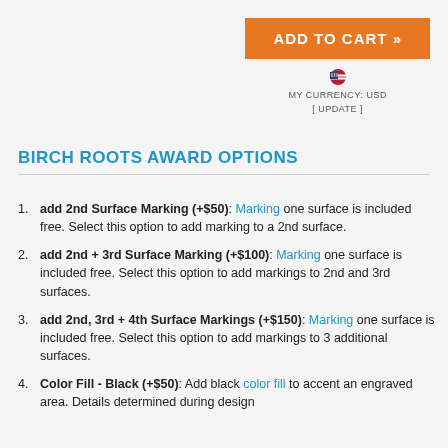[Figure (other): ADD TO CART orange button]
MY CURRENCY: USD
[ UPDATE ]
BIRCH ROOTS AWARD OPTIONS
add 2nd Surface Marking (+$50): Marking one surface is included free. Select this option to add marking to a 2nd surface.
add 2nd + 3rd Surface Marking (+$100): Marking one surface is included free. Select this option to add markings to 2nd and 3rd surfaces.
add 2nd, 3rd + 4th Surface Markings (+$150): Marking one surface is included free. Select this option to add markings to 3 additional surfaces.
Color Fill - Black (+$50): Add black color fill to accent an engraved area. Details determined during design